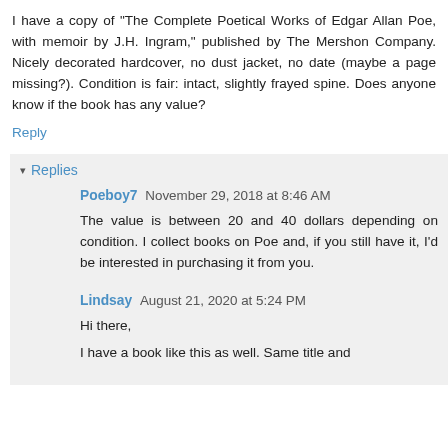I have a copy of "The Complete Poetical Works of Edgar Allan Poe, with memoir by J.H. Ingram," published by The Mershon Company. Nicely decorated hardcover, no dust jacket, no date (maybe a page missing?). Condition is fair: intact, slightly frayed spine. Does anyone know if the book has any value?
Reply
Replies
Poeboy7  November 29, 2018 at 8:46 AM
The value is between 20 and 40 dollars depending on condition. I collect books on Poe and, if you still have it, I'd be interested in purchasing it from you.
Lindsay  August 21, 2020 at 5:24 PM
Hi there,
I have a book like this as well. Same title and